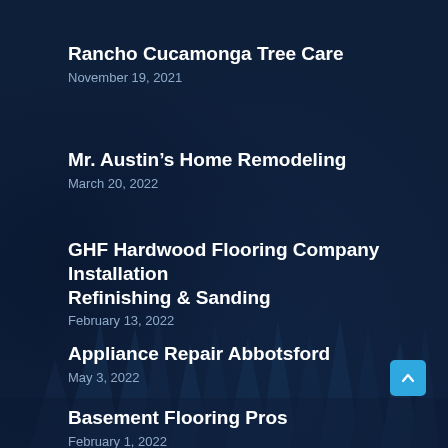Rancho Cucamonga Tree Care
November 19, 2021
Mr. Austin’s Home Remodeling
March 20, 2022
GHF Hardwood Flooring Company Installation Refinishing & Sanding
February 13, 2022
Appliance Repair Abbotsford
May 3, 2022
Basement Flooring Pros
February 1, 2022